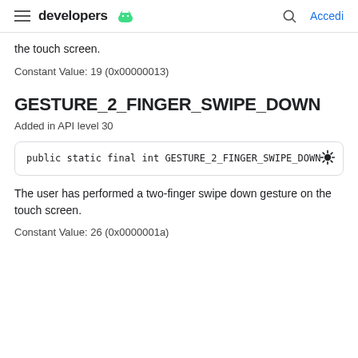developers | Accedi
the touch screen.
Constant Value: 19 (0x00000013)
GESTURE_2_FINGER_SWIPE_DOWN
Added in API level 30
public static final int GESTURE_2_FINGER_SWIPE_DOWN
The user has performed a two-finger swipe down gesture on the touch screen.
Constant Value: 26 (0x0000001a)